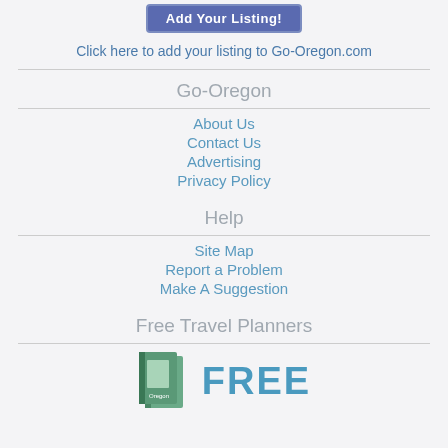[Figure (other): Blue button labeled 'Add Your Listing!']
Click here to add your listing to Go-Oregon.com
Go-Oregon
About Us
Contact Us
Advertising
Privacy Policy
Help
Site Map
Report a Problem
Make A Suggestion
Free Travel Planners
[Figure (other): Book image with FREE text promotional banner]